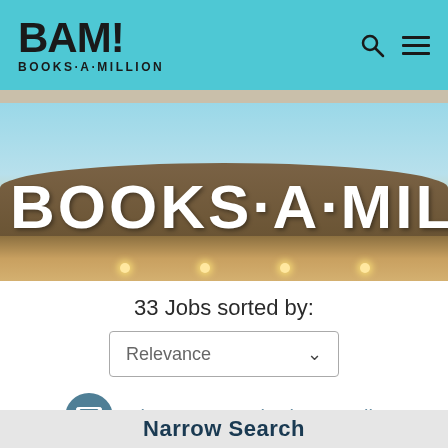[Figure (logo): BAM! Books-A-Million logo in black text on teal/cyan header bar with search and hamburger menu icons]
[Figure (photo): Exterior photo of a Books-A-Million retail store showing the storefront sign 'BOOKS·A·MILLION' in large white letters on a brown curved facade with warm interior lighting visible]
33 Jobs sorted by:
Relevance
Sign Up For Job Alert Emails
Narrow Search